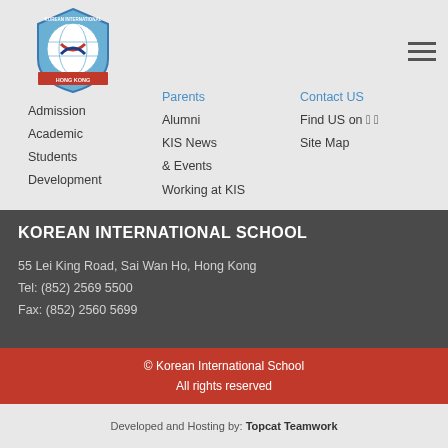[Figure (logo): Korean International School Hong Kong shield logo with globe and Korean flag colors]
Admission
Academic
Students
Development
Parents
Alumni
KIS News & Events
Working at KIS
Contact US
Find US on [social icons]
Site Map
KOREAN INTERNATIONAL SCHOOL
55 Lei King Road, Sai Wan Ho, Hong Kong
Tel: (852) 2569 5500
Fax: (852) 2560 5699
© Korean International School
All rights reserved
Developed and Hosting by: Topcat Teamwork